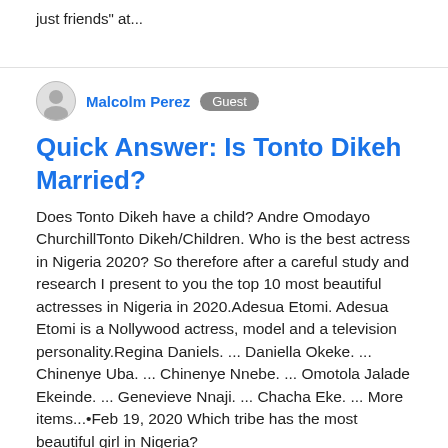just friends at...
Malcolm Perez  Guest
Quick Answer: Is Tonto Dikeh Married?
Does Tonto Dikeh have a child? Andre Omodayo ChurchillTonto Dikeh/Children. Who is the best actress in Nigeria 2020? So therefore after a careful study and research I present to you the top 10 most beautiful actresses in Nigeria in 2020.Adesua Etomi. Adesua Etomi is a Nollywood actress, model and a television personality.Regina Daniels. ... Daniella Okeke. ... Chinenye Uba. ... Chinenye Nnebe. ... Omotola Jalade Ekeinde. ... Genevieve Nnaji. ... Chacha Eke. ... More items...•Feb 19, 2020 Which tribe has the most beautiful girl in Nigeria?